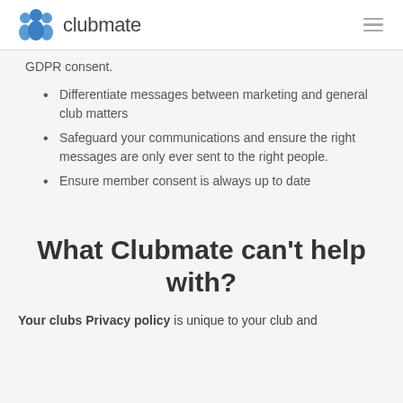clubmate
GDPR consent.
Differentiate messages between marketing and general club matters
Safeguard your communications and ensure the right messages are only ever sent to the right people.
Ensure member consent is always up to date
What Clubmate can't help with?
Your clubs Privacy policy is unique to your club and